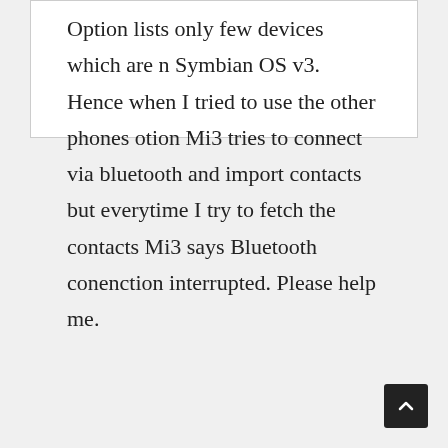Option lists only few devices which are n Symbian OS v3. Hence when I tried to use the other phones otion Mi3 tries to connect via bluetooth and import contacts but everytime I try to fetch the contacts Mi3 says Bluetooth conenction interrupted. Please help me.